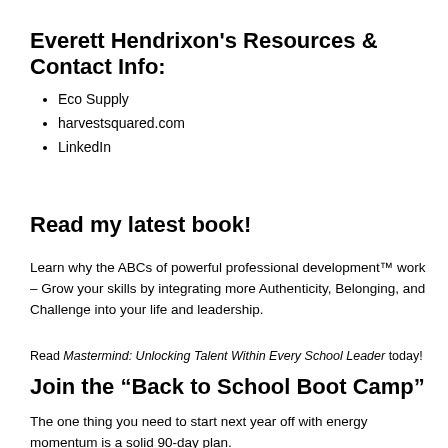Everett Hendrixon's Resources & Contact Info:
Eco Supply
harvestsquared.com
LinkedIn
Read my latest book!
Learn why the ABCs of powerful professional development™ work – Grow your skills by integrating more Authenticity, Belonging, and Challenge into your life and leadership.
Read Mastermind: Unlocking Talent Within Every School Leader today!
Join the “Back to School Boot Camp”
The one thing you need to start next year off with energy momentum is a solid 90-day plan.